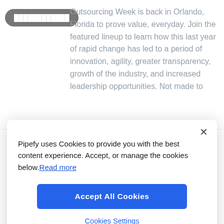Outsourcing Week is back in Orlando, Florida to prove value, everyday. Join the featured lineup to learn how this last year of rapid change has led to a period of innovation, agility, greater transparency, growth of the industry, and increased leadership opportunities. Not made to...
Pipefy uses Cookies to provide you with the best content experience. Accept, or manage the cookies below. Read more
Accept All Cookies
Cookies Settings
[Figure (logo): Pipefy webinar thumbnail — purple rounded square with 'pipefy' in white italic bold text and 'webinar' below in white]
Competing for Talent in a Digitized World
Watch this webinar as we cover: recruiting process 101 - how it should look; reality for recruiters and the cost of manual processes; why...